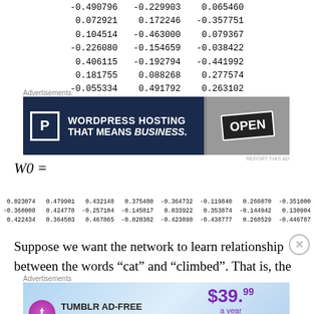| -0.490796 | -0.229903 | 0.065460 |
| 0.072921 | 0.172246 | -0.357751 |
| 0.104514 | -0.463000 | 0.079367 |
| -0.226080 | -0.154659 | -0.038422 |
| 0.406115 | -0.192794 | -0.441992 |
| 0.181755 | 0.088268 | 0.277574 |
| -0.055334 | 0.491792 | 0.263102 |
[Figure (other): WordPress Hosting advertisement banner]
| 0.023074 | 0.479901 | 0.432148 | 0.375480 | -0.364732 | -0.119840 | 0.266070 | -0.351000 |
| -0.368008 | 0.424778 | -0.257104 | -0.145817 | 0.033922 | 0.353874 | -0.144942 | 0.130904 |
| 0.422434 | 0.364503 | 0.467865 | -0.020302 | -0.423890 | -0.438777 | 0.268529 | -0.446787 |
Suppose we want the network to learn relationship between the words “cat” and “climbed”. That is, the
[Figure (other): Tumblr Ad-Free Browsing advertisement banner]